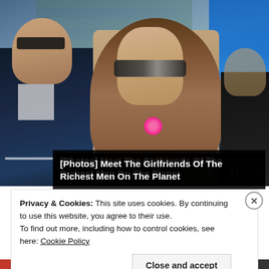[Figure (photo): Photo of two people sitting in stadium stands. On the left, an older man in a dark navy suit with white shirt and gray tie, wearing sunglasses. In the center, a young woman with long brown hair wearing sunglasses and a beige/tan lace top with a pink flower accessory. On the right edge, a partial view of another person. Blue stadium seats visible in the background. Media player controls (skip back, pause, skip forward) visible in lower right. A horizontal progress/slideshow bar is visible near the bottom of the image.]
[Photos] Meet The Girlfriends Of The Richest Men On The Planet
Privacy & Cookies: This site uses cookies. By continuing to use this website, you agree to their use.
To find out more, including how to control cookies, see here: Cookie Policy
Close and accept